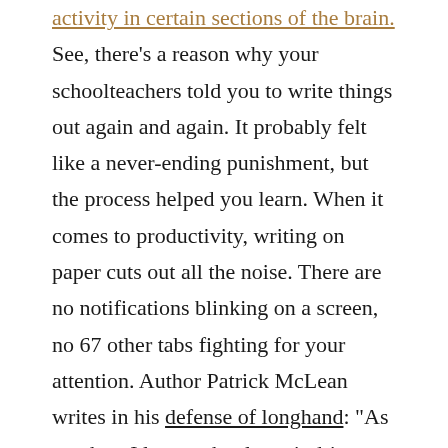activity in certain sections of the brain. See, there's a reason why your schoolteachers told you to write things out again and again. It probably felt like a never-ending punishment, but the process helped you learn. When it comes to productivity, writing on paper cuts out all the noise. There are no notifications blinking on a screen, no 67 other tabs fighting for your attention. Author Patrick McLean writes in his defense of longhand: “As much as I love technology, it drives us to distraction. A pen and paper has but one functionality. It captures the marks I make so that they can be referred to at a later time.”

What’s more, longhand allows for spontaneous